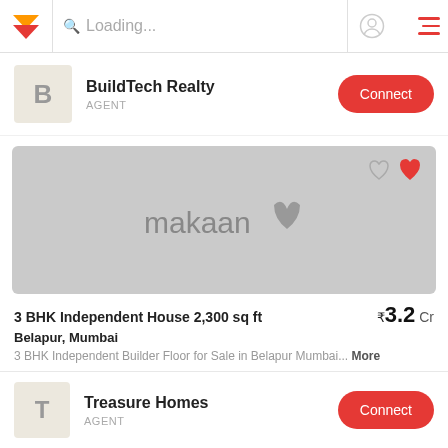Loading...
BuildTech Realty
AGENT
[Figure (screenshot): Property listing placeholder image with makaan logo watermark and heart/favorite icons in top right corner]
3 BHK Independent House 2,300 sq ft
Belapur, Mumbai
₹3.2 Cr
3 BHK Independent Builder Floor for Sale in Belapur Mumbai... More
Treasure Homes
AGENT